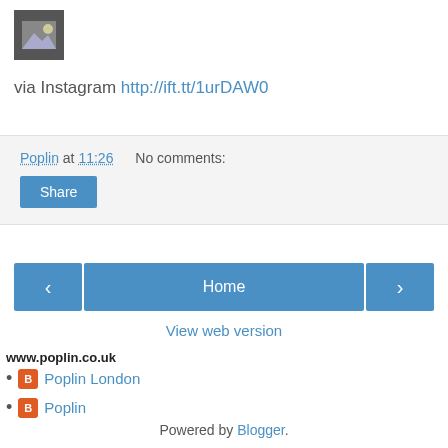[Figure (other): Small grey image placeholder/thumbnail icon in top-left corner]
via Instagram http://ift.tt/1urDAW0
Poplin at 11:26    No comments:
Share (button)
[Figure (other): Navigation bar with left arrow button, Home button, right arrow button]
View web version
www.poplin.co.uk
Poplin London
Poplin
Powered by Blogger.